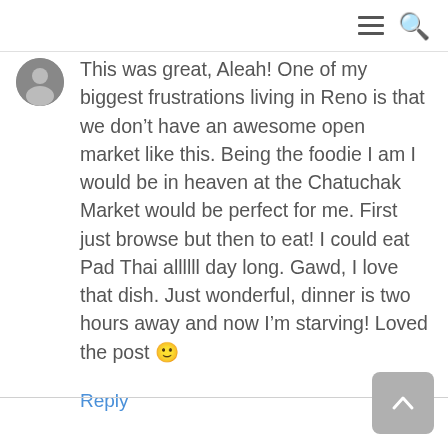[Figure (photo): User avatar - circular profile photo, dark/grey tones]
This was great, Aleah! One of my biggest frustrations living in Reno is that we don’t have an awesome open market like this. Being the foodie I am I would be in heaven at the Chatuchak Market would be perfect for me. First just browse but then to eat! I could eat Pad Thai allllll day long. Gawd, I love that dish. Just wonderful, dinner is two hours away and now I’m starving! Loved the post 🙂
Reply